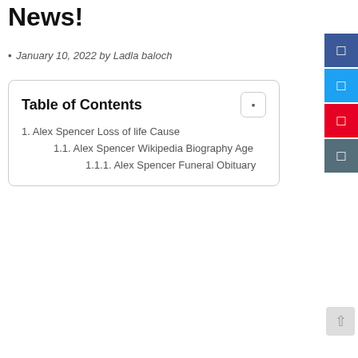News!
January 10, 2022 by Ladla baloch
| 1. Alex Spencer Loss of life Cause |
| 1.1. Alex Spencer Wikipedia Biography Age |
| 1.1.1. Alex Spencer Funeral Obituary |